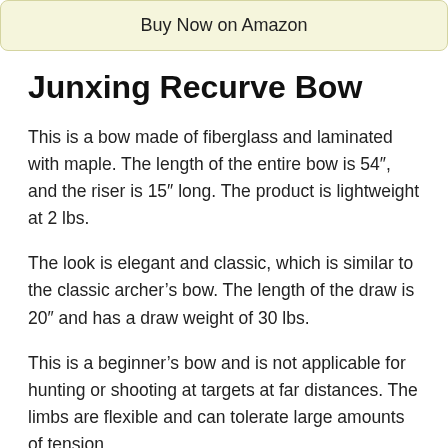[Figure (other): Buy Now on Amazon button — a beige/cream rounded rectangle button]
Junxing Recurve Bow
This is a bow made of fiberglass and laminated with maple. The length of the entire bow is 54″, and the riser is 15″ long. The product is lightweight at 2 lbs.
The look is elegant and classic, which is similar to the classic archer’s bow. The length of the draw is 20″ and has a draw weight of 30 lbs.
This is a beginner’s bow and is not applicable for hunting or shooting at targets at far distances. The limbs are flexible and can tolerate large amounts of tension.
The bow is made for short range shooting and will...